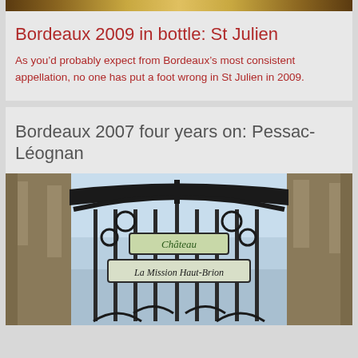[Figure (photo): Top partial image strip showing a golden/amber colored wine label or bottle detail]
Bordeaux 2009 in bottle: St Julien
As you’d probably expect from Bordeaux’s most consistent appellation, no one has put a foot wrong in St Julien in 2009.
Bordeaux 2007 four years on: Pessac-Léognan
[Figure (photo): Photograph of an ornate iron gate with scrollwork and the text 'Château La Mission Haut-Brion' on a banner, with stone towers visible on either side against a blue sky]